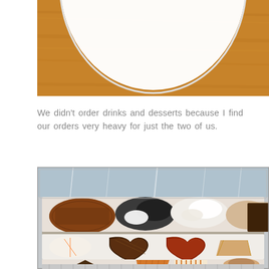[Figure (photo): Top portion of a round white plate on a wooden surface, cropped to show only the upper part of the plate against a warm brown wood background.]
We didn't order drinks and desserts because I find our orders very heavy for just the two of us.
[Figure (photo): A bakery or dessert display case showing multiple shelves of tarts and pastries. The top shelf has whole tarts with various toppings including chocolate sprinkles, black sesame, cream, and almond. The middle shelf shows heart-shaped and round pastries. The bottom shelf shows sliced tarts and pastry pieces with striped and decorative designs.]